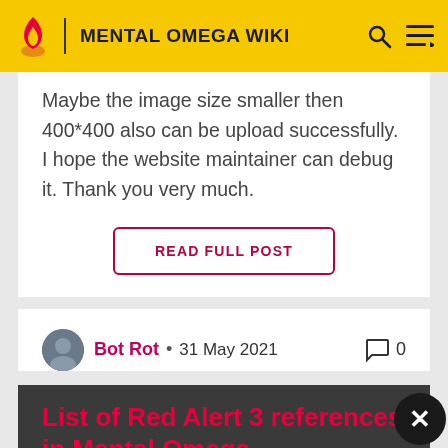MENTAL OMEGA WIKI
Maybe the image size smaller then 400*400 also can be upload successfully. I hope the website maintainer can debug it. Thank you very much.
READ FULL POST
Bot Rot • 31 May 2021
List of Red Alert 3 references in Mental Omega
The following is a comprehensive list of all Red Alert 3 references and similarities in Mental